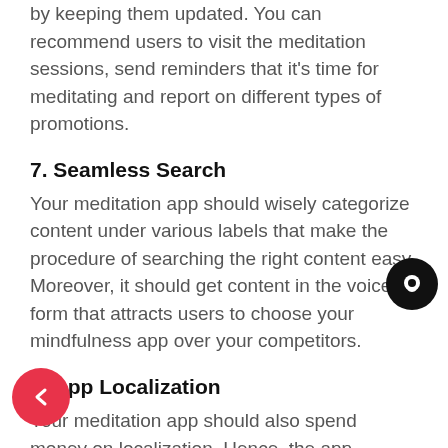by keeping them updated. You can recommend users to visit the meditation sessions, send reminders that it's time for meditating and report on different types of promotions.
7. Seamless Search
Your meditation app should wisely categorize content under various labels that make the procedure of searching the right content easy. Moreover, it should get content in the voice form that attracts users to choose your mindfulness app over your competitors.
8. App Localization
Your meditation app should also spend money on localization. Hence, the app content must be available in different languages, which provides